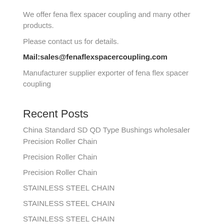We offer fena flex spacer coupling and many other products.
Please contact us for details.
Mail:sales@fenaflexspacercoupling.com
Manufacturer supplier exporter of fena flex spacer coupling
Recent Posts
China Standard SD QD Type Bushings wholesaler
Precision Roller Chain
Precision Roller Chain
Precision Roller Chain
STAINLESS STEEL CHAIN
STAINLESS STEEL CHAIN
STAINLESS STEEL CHAIN